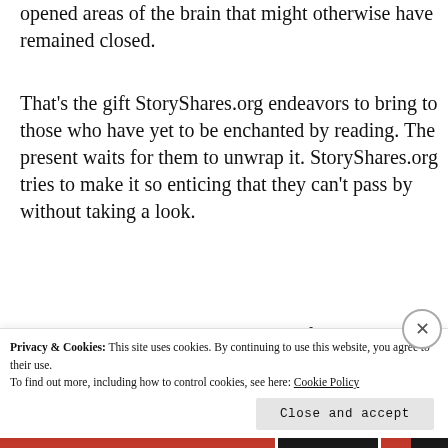opened areas of the brain that might otherwise have remained closed.
That's the gift StoryShares.org endeavors to bring to those who have yet to be enchanted by reading. The present waits for them to unwrap it. StoryShares.org tries to make it so enticing that they can't pass by without taking a look.
The Market at Night is the winner of
Privacy & Cookies: This site uses cookies. By continuing to use this website, you agree to their use.
To find out more, including how to control cookies, see here: Cookie Policy
Close and accept